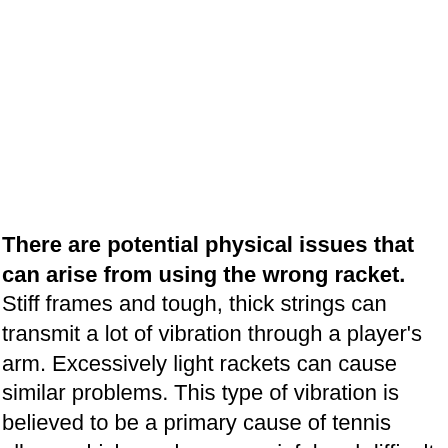There are potential physical issues that can arise from using the wrong racket. Stiff frames and tough, thick strings can transmit a lot of vibration through a player's arm. Excessively light rackets can cause similar problems. This type of vibration is believed to be a primary cause of tennis elbow, which can be very painful and difficult to get rid of. Using too small a grip can also aggravate tennis elbow.